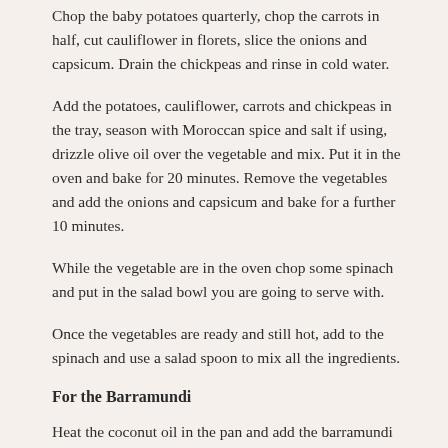Chop the baby potatoes quarterly, chop the carrots in half, cut cauliflower in florets, slice the onions and capsicum. Drain the chickpeas and rinse in cold water.
Add the potatoes, cauliflower, carrots and chickpeas in the tray, season with Moroccan spice and salt if using, drizzle olive oil over the vegetable and mix. Put it in the oven and bake for 20 minutes. Remove the vegetables and add the onions and capsicum and bake for a further 10 minutes.
While the vegetable are in the oven chop some spinach and put in the salad bowl you are going to serve with.
Once the vegetables are ready and still hot, add to the spinach and use a salad spoon to mix all the ingredients.
For the Barramundi
Heat the coconut oil in the pan and add the barramundi for two